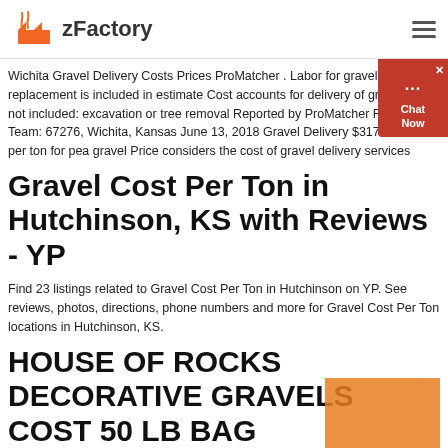zFactory
Wichita Gravel Delivery Costs Prices ProMatcher . Labor for gravel driveway replacement is included in estimate Cost accounts for delivery of gravel Items not included: excavation or tree removal Reported by ProMatcher Research Team: 67276, Wichita, Kansas June 13, 2018 Gravel Delivery $3173 $3690 per ton for pea gravel Price considers the cost of gravel delivery services
Gravel Cost Per Ton in Hutchinson, KS with Reviews - YP
Find 23 listings related to Gravel Cost Per Ton in Hutchinson on YP. See reviews, photos, directions, phone numbers and more for Gravel Cost Per Ton locations in Hutchinson, KS.
HOUSE OF ROCKS DECORATIVE GRAVELS COST 50 LB BAG